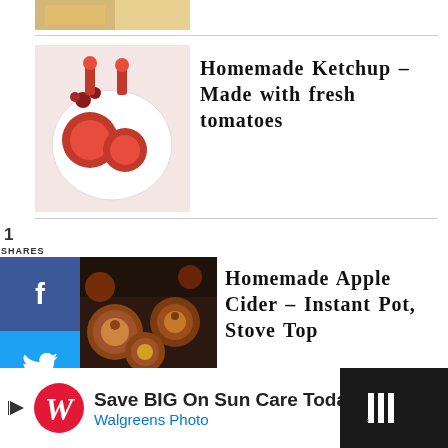[Figure (photo): Partial food photo at top of page, cropped]
[Figure (photo): Homemade ketchup in small jars with tomatoes on a white plate]
Homemade Ketchup – Made with fresh tomatoes
[Figure (photo): Homemade Apple Cider mugs with spices, overhead shot]
Homemade Apple Cider – Instant Pot, Stove Top
[Figure (photo): New York Style Bagels with various toppings]
New York Style Bagel
[Figure (screenshot): What's Next widget showing Dalia Khichdi with thumbnail]
[Figure (screenshot): Walgreens advertisement: Save BIG On Sun Care Today, Walgreens Photo]